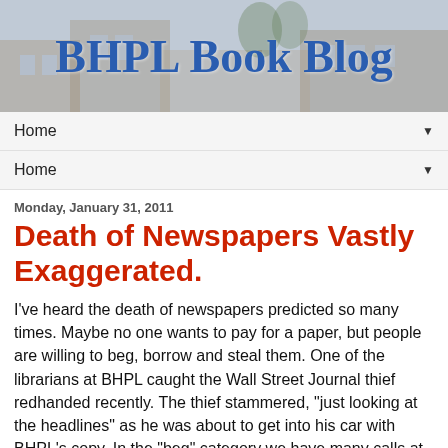[Figure (illustration): BHPL Book Blog banner header with a library building photo in the background and the blog title text overlaid in blue serif font]
Home ▼
Home ▼
Monday, January 31, 2011
Death of Newspapers Vastly Exaggerated.
I've heard the death of newspapers predicted so many times. Maybe no one wants to pay for a paper, but people are willing to beg, borrow and steal them. One of the librarians at BHPL caught the Wall Street Journal thief redhanded recently. The thief stammered, "just looking at the headlines" as he was about to get into his car with BHPL's copy. In the "beg" category we have many calls at the end of the year for